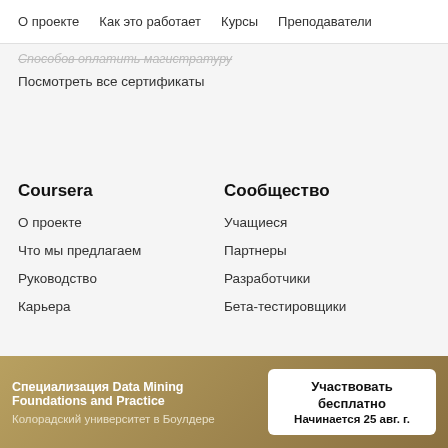О проекте   Как это работает   Курсы   Преподаватели
Способов оплатить магистратуру
Посмотреть все сертификаты
Coursera
Сообщество
О проекте
Учащиеся
Что мы предлагаем
Партнеры
Руководство
Разработчики
Карьера
Бета-тестировщики
Специализация Data Mining Foundations and Practice
Колорадский университет в Боулдере
Участвовать бесплатно
Начинается 25 авг. г.